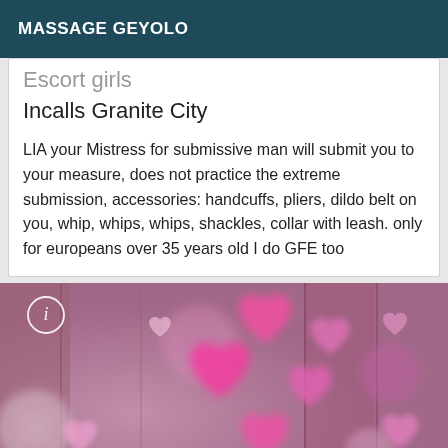MASSAGE GEYOLO
Escort girls
Incalls Granite City
LIA your Mistress for submissive man will submit you to your measure, does not practice the extreme submission, accessories: handcuffs, pliers, dildo belt on you, whip, whips, whips, shackles, collar with leash. only for europeans over 35 years old I do GFE too
[Figure (photo): Pink and mauve bokeh background with multiple heart shapes in pink and white tones, info icon circle in top left corner]